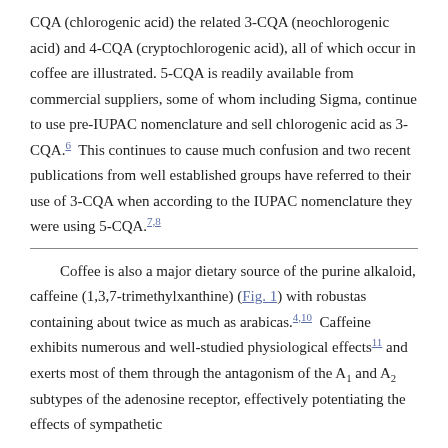CQA (chlorogenic acid) the related 3-CQA (neochlorogenic acid) and 4-CQA (cryptochlorogenic acid), all of which occur in coffee are illustrated. 5-CQA is readily available from commercial suppliers, some of whom including Sigma, continue to use pre-IUPAC nomenclature and sell chlorogenic acid as 3-CQA.6 This continues to cause much confusion and two recent publications from well established groups have referred to their use of 3-CQA when according to the IUPAC nomenclature they were using 5-CQA.7,8
Coffee is also a major dietary source of the purine alkaloid, caffeine (1,3,7-trimethylxanthine) (Fig. 1) with robustas containing about twice as much as arabicas.4,10 Caffeine exhibits numerous and well-studied physiological effects11 and exerts most of them through the antagonism of the A1 and A2 subtypes of the adenosine receptor, effectively potentiating the effects of sympathetic